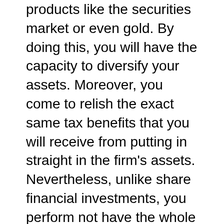products like the securities market or even gold. By doing this, you will have the capacity to diversify your assets. Moreover, you come to relish the exact same tax benefits that you will receive from putting in straight in the firm's assets. Nevertheless, unlike share financial investments, you perform not have the whole business. You will certainly need to consider whether you would like to remain within the firm's ownership to steer clear of added costs.
If you are actually much more pleasant spending personally, you can find the assistance of a provider broker that can assist you with all your financial investments. As a matter of fact, you may wish to look at getting bitcoins in an